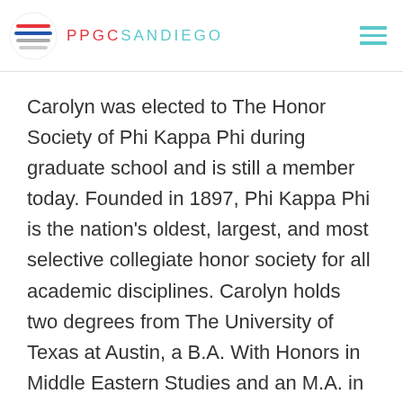PPGCSANDIEGO
Carolyn was elected to The Honor Society of Phi Kappa Phi during graduate school and is still a member today. Founded in 1897, Phi Kappa Phi is the nation’s oldest, largest, and most selective collegiate honor society for all academic disciplines. Carolyn holds two degrees from The University of Texas at Austin, a B.A. With Honors in Middle Eastern Studies and an M.A. in American Art. She was the recipient of the